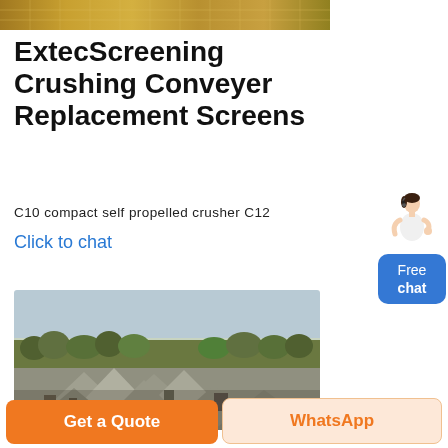[Figure (photo): Top banner image showing yellow/gold industrial screening equipment or mesh]
ExtecScreening Crushing Conveyer Replacement Screens
C10 compact self propelled crusher C12
Click to chat
[Figure (illustration): Free chat widget with a person figure and a blue rounded button labeled Free chat]
[Figure (photo): Aerial view of a large open quarry or mining site with piles of crushed stone and surrounding trees]
Get a Quote
WhatsApp